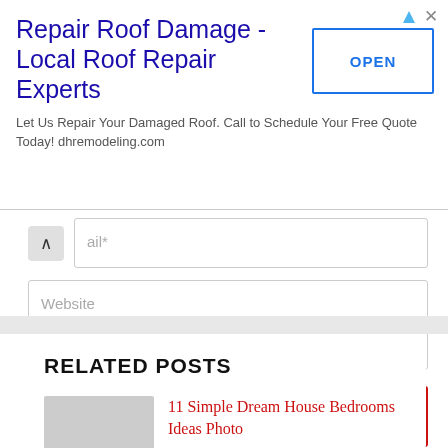[Figure (screenshot): Advertisement banner: Repair Roof Damage - Local Roof Repair Experts. Let Us Repair Your Damaged Roof. Call to Schedule Your Free Quote Today! dhremodeling.com. OPEN button on the right.]
ail*
Website
Post Comment
RELATED POSTS
11 Simple Dream House Bedrooms Ideas Photo
House Plans With Walkout